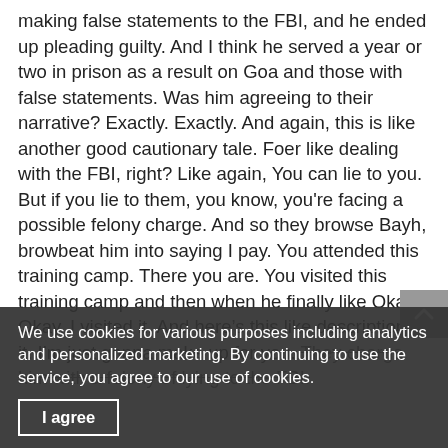making false statements to the FBI, and he ended up pleading guilty. And I think he served a year or two in prison as a result on Goa and those with false statements. Was him agreeing to their narrative? Exactly. Exactly. And again, this is like another good cautionary tale. Foer like dealing with the FBI, right? Like again, You can lie to you. But if you lie to them, you know, you're facing a possible felony charge. And so they browse Bayh, browbeat him into saying I pay. You attended this training camp. There you are. You visited this training camp and then when he finally like Okay, Okay, I visited it. And here's this like description of it. I'm just gonna make up for you. They charge him with a felony of lying to the FBI.
a way that the FBI kind of like Oo worst from him and again, like I mentioned earlier. Like, you know, it really doesn't benefit Eni defendant whether you're
We use cookies for various purposes including analytics and personalized marketing. By continuing to use the service, you agree to our use of cookies.
I agree